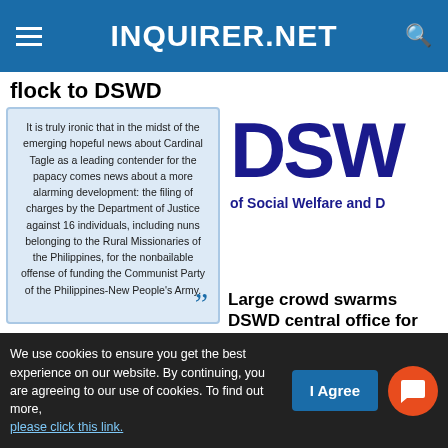INQUIRER.NET
flock to DSWD
[Figure (screenshot): Quote card with text about Cardinal Tagle and DOJ charges against 16 individuals including nuns of the Rural Missionaries of the Philippines for funding the Communist Party of the Philippines-New People's Army]
[Figure (logo): DSWD logo - Department of Social Welfare and Development partial view]
Disturbing news amid glad tidings
Large crowd swarms DSWD central office for distribution of educational aid
Don't miss out on the latest news and information.
We use cookies to ensure you get the best experience on our website. By continuing, you are agreeing to our use of cookies. To find out more, please click this link.